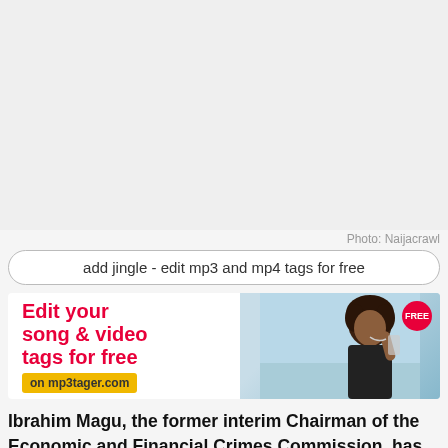[Figure (photo): Gray placeholder area at top of page]
Photo: Naijacrawl
add jingle - edit mp3 and mp4 tags for free
[Figure (infographic): Advertisement banner: Edit your song & video tags for free on mp3tager.com — FREE badge top right, person with headphones on right side]
Ibrahim Magu, the former interim Chairman of the Economic and Financial Crimes Commission, has been elevated by the Police Service Commission (PSC) (EFCC).
Continuing EFCC Chairman of the...